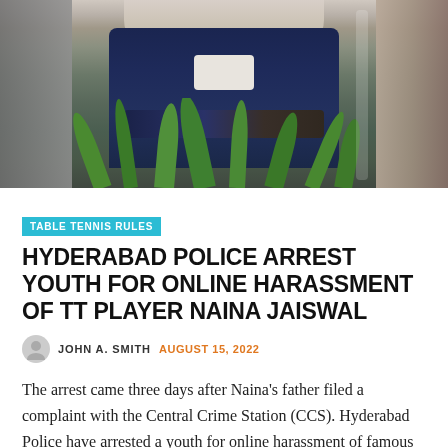[Figure (photo): A young woman in a dark blue jacket with arms crossed, standing near green plants and a glass window/door. Left and right edges are blurred or dark.]
TABLE TENNIS RULES
HYDERABAD POLICE ARREST YOUTH FOR ONLINE HARASSMENT OF TT PLAYER NAINA JAISWAL
JOHN A. SMITH   AUGUST 15, 2022
The arrest came three days after Naina's father filed a complaint with the Central Crime Station (CCS). Hyderabad Police have arrested a youth for online harassment of famous table tennis player Naina Jaiswal. Cybercrime police